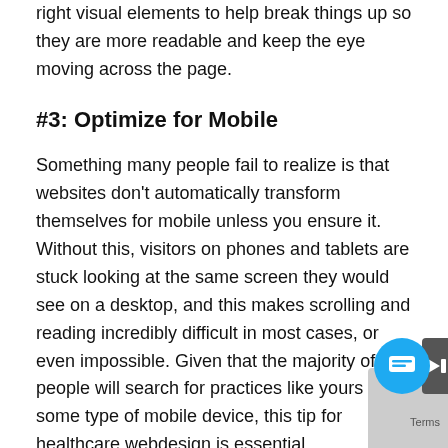right visual elements to help break things up so they are more readable and keep the eye moving across the page.
#3: Optimize for Mobile
Something many people fail to realize is that websites don't automatically transform themselves for mobile unless you ensure it. Without this, visitors on phones and tablets are stuck looking at the same screen they would see on a desktop, and this makes scrolling and reading incredibly difficult in most cases, or even impossible. Given that the majority of people will search for practices like yours on some type of mobile device, this tip for healthcare webdesign is essential.
Of course, your website is just one aspect of you